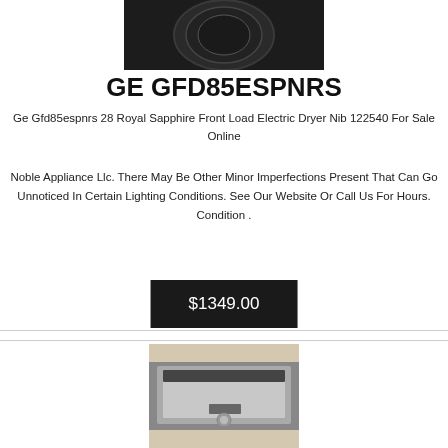[Figure (photo): Top portion of a dark-colored front load electric dryer, cropped, centered at top of page]
GE GFD85ESPNRS
Ge Gfd85espnrs 28 Royal Sapphire Front Load Electric Dryer Nib 122540 For Sale Online
Noble Appliance Llc. There May Be Other Minor Imperfections Present That Can Go Unnoticed In Certain Lighting Conditions. See Our Website Or Call Us For Hours. Condition .
$1349.00
[Figure (photo): Appliance product photo showing a stainless-steel appliance in a box/packaging, partially visible at bottom of page]